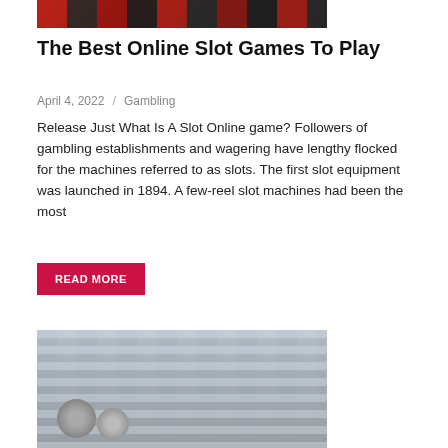[Figure (photo): Top portion of a photo showing slot machines in a casino, with red and dark tones]
The Best Online Slot Games To Play
April 4, 2022  /  Gambling
Release Just What Is A Slot Online game? Followers of gambling establishments and wagering have lengthy flocked for the machines referred to as slots. The first slot equipment was launched in 1894. A few-reel slot machines had been the most
READ MORE
[Figure (photo): Photo of a hardware store pegboard display with various tools, rings, and automotive parts hanging on it]